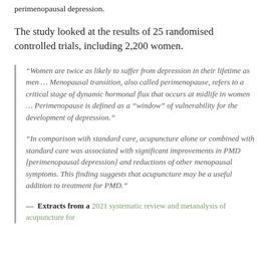perimenopausal depression.
The study looked at the results of 25 randomised controlled trials, including 2,200 women.
“Women are twice as likely to suffer from depression in their lifetime as men … Menopausal transition, also called perimenopause, refers to a critical stage of dynamic hormonal flux that occurs at midlife in women … Perimenopause is defined as a “window” of vulnerability for the development of depression.”
“In comparison with standard care, acupuncture alone or combined with standard care was associated with significant improvements in PMD [perimenopausal depression] and reductions of other menopausal symptoms. This finding suggests that acupuncture may be a useful addition to treatment for PMD.”
— Extracts from a 2021 systematic review and metanalysis of acupuncture for